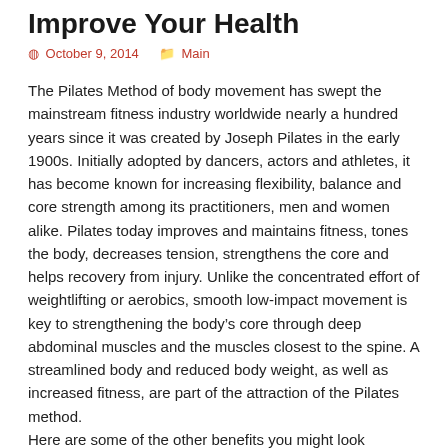Improve Your Health
October 9, 2014    Main
The Pilates Method of body movement has swept the mainstream fitness industry worldwide nearly a hundred years since it was created by Joseph Pilates in the early 1900s. Initially adopted by dancers, actors and athletes, it has become known for increasing flexibility, balance and core strength among its practitioners, men and women alike. Pilates today improves and maintains fitness, tones the body, decreases tension, strengthens the core and helps recovery from injury. Unlike the concentrated effort of weightlifting or aerobics, smooth low-impact movement is key to strengthening the body's core through deep abdominal muscles and the muscles closest to the spine. A streamlined body and reduced body weight, as well as increased fitness, are part of the attraction of the Pilates method.
Here are some of the other benefits you might look